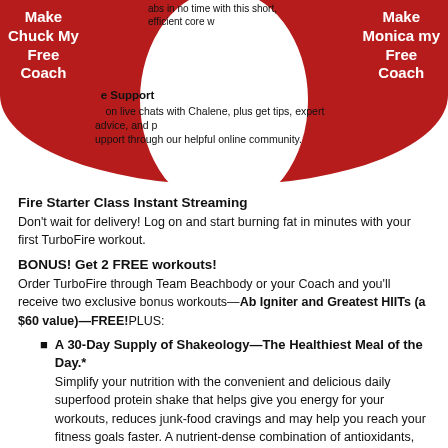Make Chuck My Free Coach
abs in no time with this short, efficient core w...
Make Monica my Free Coach
e Support
on live chats with Chalene, plus get tips, expert advice, and p... upport through our helpful online community.
Fire Starter Class Instant Streaming
Don’t wait for delivery! Log on and start burning fat in minutes with your first TurboFire workout.
BONUS! Get 2 FREE workouts!
Order TurboFire through Team Beachbody or your Coach and you’ll receive two exclusive bonus workouts—Ab Igniter and Greatest HIITs (a $60 value)—FREE!PLUS:
A 30-Day Supply of Shakeology—The Healthiest Meal of the Day.* Simplify your nutrition with the convenient and delicious daily superfood protein shake that helps give you energy for your workouts, reduces junk-food cravings and may help you reach your fitness goals faster. A nutrient-dense combination of antioxidants, phytonutrients, adaptogens, and many other rare ingredients gives your body superfoods you can’t get from a normal diet. 100% vegan option now available.‡